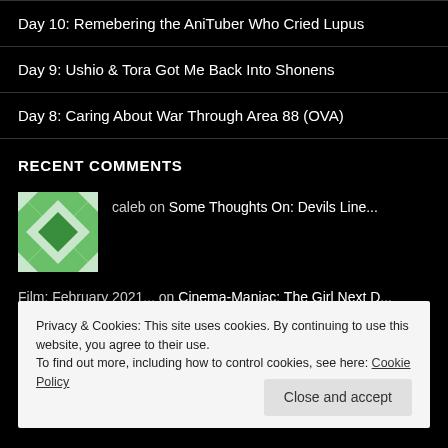Day 10: Remebering the AniTuber Who Cried Lupus
Day 9: Ushio & Tora Got Me Back Into Shonens
Day 8: Caring About War Through Area 88 (OVA)
RECENT COMMENTS
caleb on Some Thoughts On: Devils Line...
Film: February 2021... on Cinema-Maniac: The Girl Next D...
Privacy & Cookies: This site uses cookies. By continuing to use this website, you agree to their use. To find out more, including how to control cookies, see here: Cookie Policy